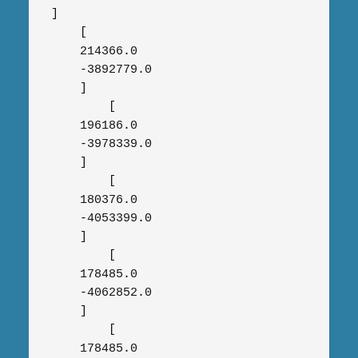]
    [
    214366.0
    -3892779.0
    ]
        [
    196186.0
    -3978339.0
    ]
        [
    180376.0
    -4053399.0
    ]
        [
    178485.0
    -4062852.0
    ]
        [
    178485.0